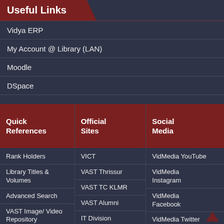Useful Links
Vidya ERP
My Account @ Library (LAN)
Moodle
DSpace
Quick References
Official Sites
Social Media
Rank Holders
Library Titles & Volumes
Advanced Search
VAST Image/ Video Repository
VICT
VAST Thrissur
VAST TC KLMR
VAST Alumni
IT Division
VidMedia YouTube
VidMedia Instagram
VidMedia Facebook
VidMedia Twitter